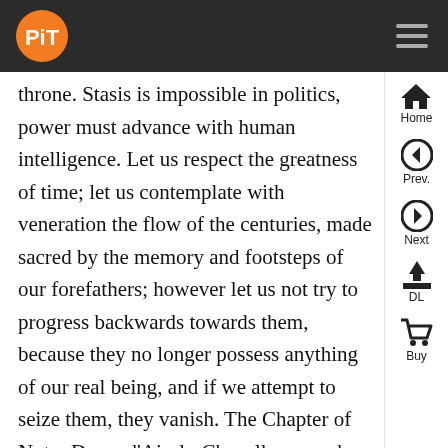PiT logo and navigation bar
throne. Stasis is impossible in politics, power must advance with human intelligence. Let us respect the greatness of time; let us contemplate with veneration the flow of the centuries, made sacred by the memory and footsteps of our forefathers; however let us not try to progress backwards towards them, because they no longer possess anything of our real being, and if we attempt to seize them, they vanish. The Chapter of Notre Dame d’Aix-la-Chapelle opened Charlemagne’s tomb, they say, around 1450. They found the emperor seated on a golden chair, holding in his skeletal hands the Book of the Gospels written in